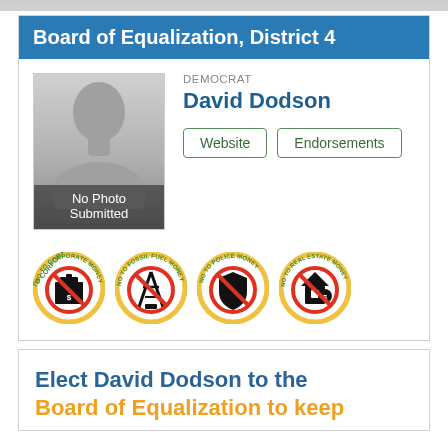Board of Equalization, District 4
[Figure (photo): Silhouette placeholder image with text 'No Photo Submitted']
DEMOCRAT
David Dodson
Website | Endorsements
[Figure (infographic): Four circular badge icons: No to Corporate Money, No to Fossil Fuel Money, No to Police Money, No to Real Estate Money]
Elect David Dodson to the Board of Equalization to keep